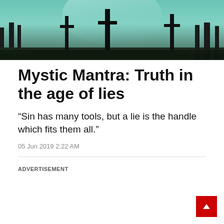[Figure (photo): Atmospheric landscape photo with silhouetted trees and crosses against a dramatic teal/green sky backdrop]
Mystic Mantra: Truth in the age of lies
“Sin has many tools, but a lie is the handle which fits them all.”
05 Jun 2019 2:22 AM
ADVERTISEMENT